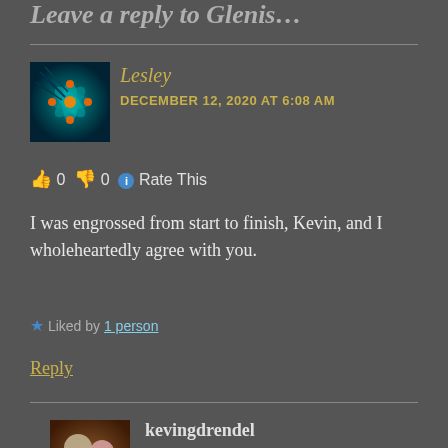Leave a reply to Glenis…
[Figure (photo): Avatar image for commenter Lesley — fractal flower artwork with teal/cyan colors on dark background]
Lesley
DECEMBER 12, 2020 AT 6:08 AM
👍 0 👎 0 ℹ Rate This
I was engrossed from start to finish, Kevin, and I wholeheartedly agree with you.
★ Liked by 1 person
Reply
[Figure (photo): Avatar image for commenter kevingdrendel — couple photo with an older man and woman]
kevingdrendel
DECEMBER 12, 2020 AT 10:33 AM